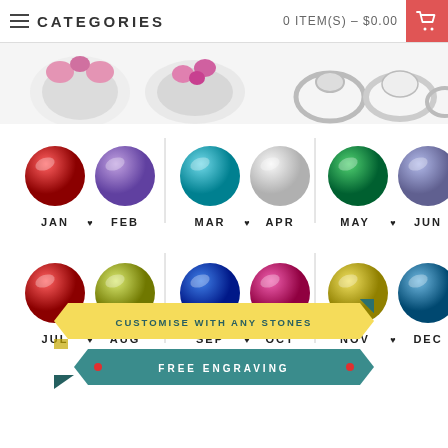CATEGORIES | 0 ITEM(S) - $0.00
[Figure (photo): Strip of silver jewelry rings across the top of the page]
[Figure (infographic): 12 birthstone gemstones arranged in two rows labeled JAN through DEC with heart separators]
[Figure (infographic): Yellow ribbon banner reading CUSTOMISE WITH ANY STONES and teal ribbon banner reading FREE ENGRAVING]